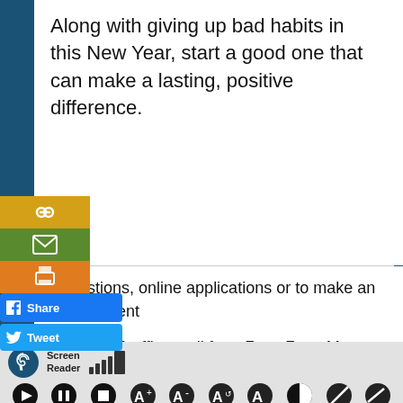Along with giving up bad habits in this New Year, start a good one that can make a lasting, positive difference.
r questions, online applications or to make an appointment
visit a SSA office, call from 7am–7pm, Mon–Fri,
1-800-772-1213 (toll free) | 1-800-325-0778 (TTY)
www.socialsecurity.gov
Screen Reader [accessibility controls bar]